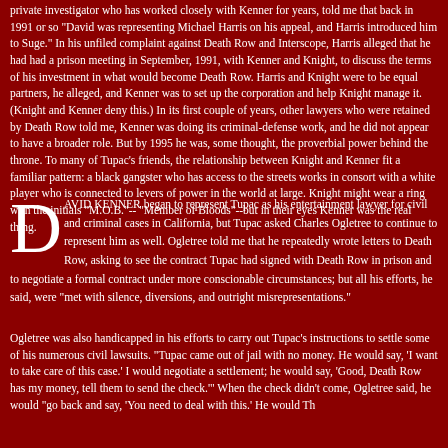private investigator who has worked closely with Kenner for years, told me that back in 1991 or so "David was representing Michael Harris on his appeal, and Harris introduced him to Suge." In his unfiled complaint against Death Row and Interscope, Harris alleged that he had had a prison meeting in September, 1991, with Kenner and Knight, to discuss the terms of his investment in what would become Death Row. Harris and Knight were to be equal partners, he alleged, and Kenner was to set up the corporation and help Knight manage it. (Knight and Kenner deny this.) In its first couple of years, other lawyers who were retained by Death Row told me, Kenner was doing its criminal-defense work, and he did not appear to have a broader role. But by 1995 he was, some thought, the proverbial power behind the throne. To many of Tupac's friends, the relationship between Knight and Kenner fit a familiar pattern: a black gangster who has access to the streets works in consort with a white player who is connected to levers of power in the world at large. Knight might wear a ring with the initials "M.O.B."--"Member of Bloods"--but in their eyes Kenner was the real thing.
DAVID KENNER began to represent Tupac as his entertainment lawyer for civil and criminal cases in California, but Tupac asked Charles Ogletree to continue to represent him as well. Ogletree told me that he repeatedly wrote letters to Death Row, asking to see the contract Tupac had signed with Death Row in prison and to negotiate a formal contract under more conscionable circumstances; but all his efforts, he said, were "met with silence, diversions, and outright misrepresentations."
Ogletree was also handicapped in his efforts to carry out Tupac's instructions to settle some of his numerous civil lawsuits. "Tupac came out of jail with no money. He would say, 'I want to take care of this case.' I would negotiate a settlement; he would say, 'Good, Death Row has my money, tell them to send the check.'" When the check didn't come, Ogletree said, he would "go back and say, 'You need to deal with this.' He would Th